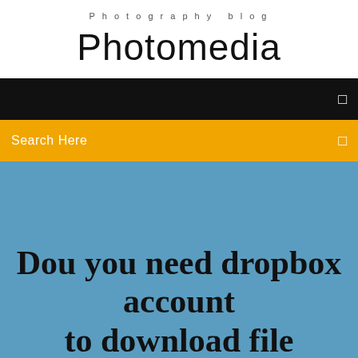Photography blog
Photomedia
[Figure (screenshot): Black navigation bar with white menu icon on the right]
Search Here
Dou you need dropbox account to download file